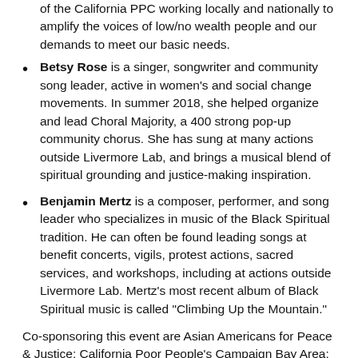of the California PPC working locally and nationally to amplify the voices of low/no wealth people and our demands to meet our basic needs.
Betsy Rose is a singer, songwriter and community song leader, active in women's and social change movements. In summer 2018, she helped organize and lead Choral Majority, a 400 strong pop-up community chorus. She has sung at many actions outside Livermore Lab, and brings a musical blend of spiritual grounding and justice-making inspiration.
Benjamin Mertz is a composer, performer, and song leader who specializes in music of the Black Spiritual tradition. He can often be found leading songs at benefit concerts, vigils, protest actions, sacred services, and workshops, including at actions outside Livermore Lab. Mertz's most recent album of Black Spiritual music is called "Climbing Up the Mountain."
Co-sponsoring this event are Asian Americans for Peace & Justice; California Poor People's Campaign Bay Area; East Bay Peace Action; East Timor Religious Outreach; Ecumenical Peace Institute; Livermore Conversion Project; Niebyl-Proctor